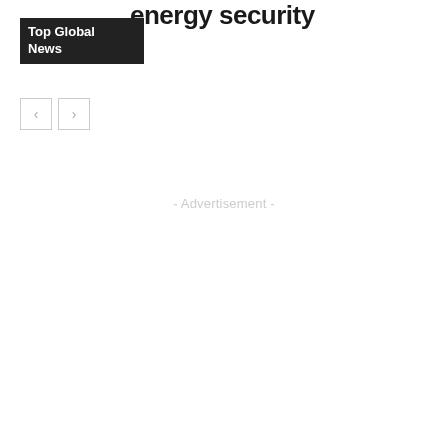energy security
Top Global News
‹ ›
- Advertisement -